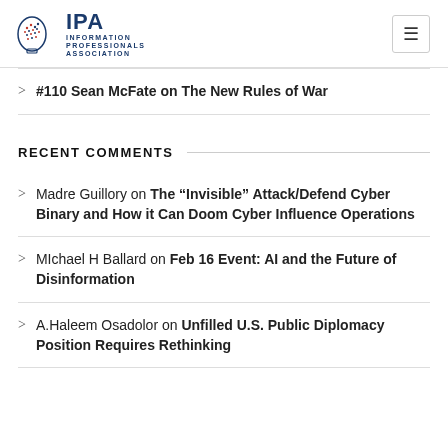IPA Information Professionals Association
#110 Sean McFate on The New Rules of War
RECENT COMMENTS
Madre Guillory on The “Invisible” Attack/Defend Cyber Binary and How it Can Doom Cyber Influence Operations
MIchael H Ballard on Feb 16 Event: AI and the Future of Disinformation
A.Haleem Osadolor on Unfilled U.S. Public Diplomacy Position Requires Rethinking